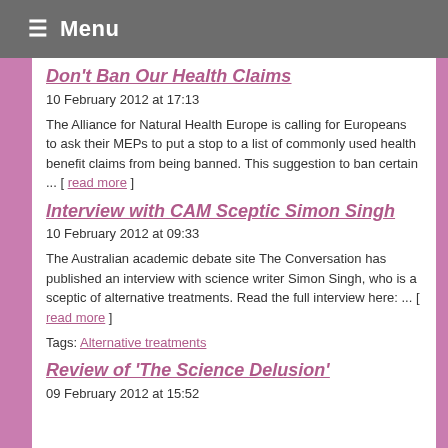≡ Menu
Don't Ban Our Health Claims
10 February 2012 at 17:13
The Alliance for Natural Health Europe is calling for Europeans to ask their MEPs to put a stop to a list of commonly used health benefit claims from being banned. This suggestion to ban certain ... [ read more ]
Interview with CAM Sceptic Simon Singh
10 February 2012 at 09:33
The Australian academic debate site The Conversation has published an interview with science writer Simon Singh, who is a sceptic of alternative treatments. Read the full interview here: ... [ read more ]
Tags: Alternative treatments
Review of 'The Science Delusion'
09 February 2012 at 15:52